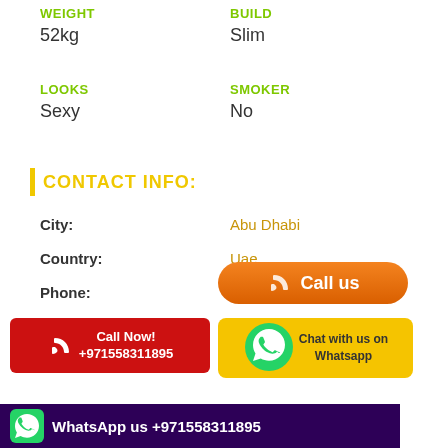WEIGHT
52kg
BUILD
Slim
LOOKS
Sexy
SMOKER
No
CONTACT INFO:
City:
Country:
Phone:
Abu Dhabi
Uae
[Figure (illustration): Orange Call us button with phone icon]
[Figure (illustration): Red Call Now! +971558311895 button with phone icon]
[Figure (illustration): Whatsapp Chat with us on Whatsapp button with green WhatsApp logo]
[Figure (illustration): Dark purple bottom bar with WhatsApp icon and text: WhatsApp us +971558311895]